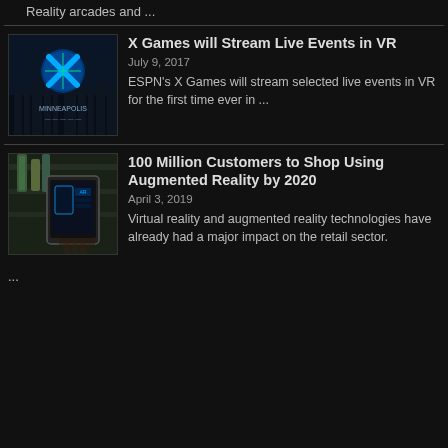Reality arcades and ...
X Games will Stream Live Events in VR
July 9, 2017
ESPN's X Games will stream selected live events in VR for the first time ever in ...
100 Million Customers to Shop Using Augmented Reality by 2020
April 3, 2019
Virtual reality and augmented reality technologies have already had a major impact on the retail sector.
...